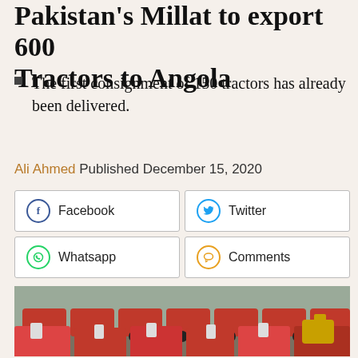Pakistan's Millat to export 600 Tractors to Angola
The first consignment of 150 tractors has already been delivered.
Ali Ahmed Published December 15, 2020
Facebook | Twitter | Whatsapp | Comments
[Figure (photo): Rows of red tractors lined up on flatbed trucks and on the ground, ready for export shipment.]